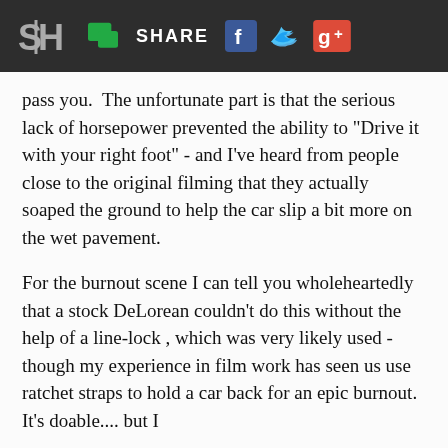SH | SHARE
pass you.  The unfortunate part is that the serious lack of horsepower prevented the ability to "Drive it with your right foot" - and I've heard from people close to the original filming that they actually soaped the ground to help the car slip a bit more on the wet pavement.
For the burnout scene I can tell you wholeheartedly that a stock DeLorean couldn't do this without the help of a line-lock , which was very likely used - though my experience in film work has seen us use ratchet straps to hold a car back for an epic burnout.  It's doable.... but I